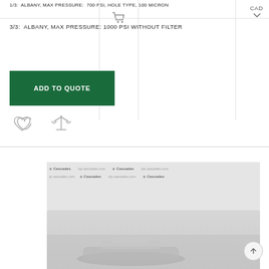1/3: ALBANY, MAX PRESSURE: 700 PSI, HOLE TYPE, 100 MICRON
3/3: ALBANY, MAX PRESSURE: 1000 PSI WITHOUT FILTER
ADD TO QUOTE
[Figure (photo): Product photo showing a mechanical filter/fitting component against a Cascades branded backdrop with cip.cascades.com watermark text repeated across background]
CAD